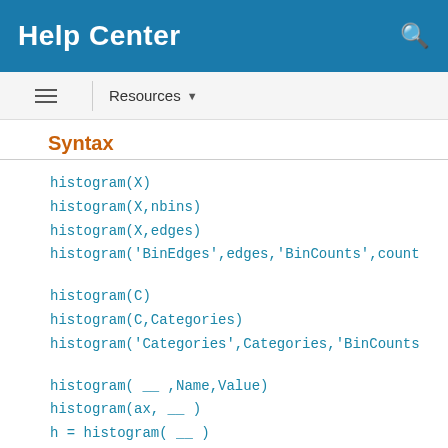Help Center
Syntax
histogram(X)
histogram(X,nbins)
histogram(X,edges)
histogram('BinEdges',edges,'BinCounts',count

histogram(C)
histogram(C,Categories)
histogram('Categories',Categories,'BinCounts

histogram( __ ,Name,Value)
histogram(ax, __ )
h = histogram( __ )
Description
histogram(X) creates a histogram plot of